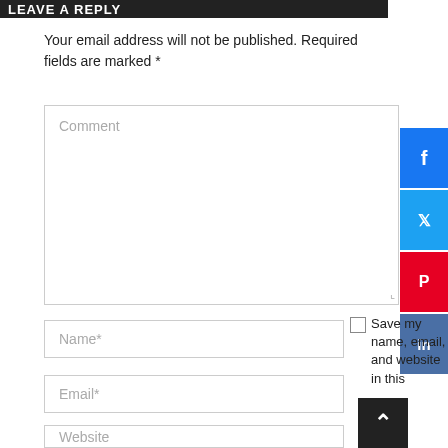LEAVE A REPLY
Your email address will not be published. Required fields are marked *
Comment
Name*
Email*
Website
Save my name, email, and website in this